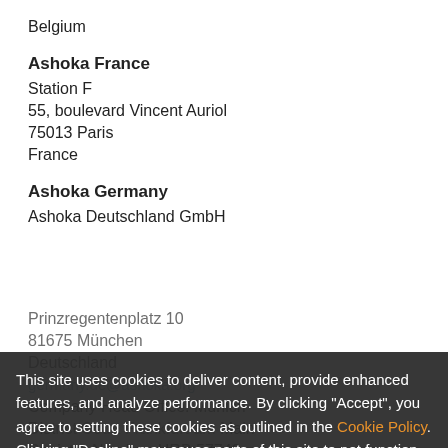Belgium
Ashoka France
Station F
55, boulevard Vincent Auriol
75013 Paris
France
Ashoka Germany
Ashoka Deutschland GmbH
Prinzregentenplatz 10
81675 München
Deutschland
germany.de@ashoka.org
Company Head Office: Munich
District Court Frankfurt am Main
Register Number: HRB 57749
This site uses cookies to deliver content, provide enhanced features, and analyze performance. By clicking "Accept", you agree to setting these cookies as outlined in the Cookie Policy. Clicking "Decline" may cause parts of this site to not function as expected.